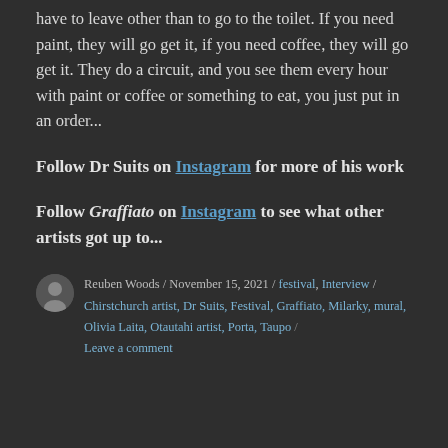have to leave other than to go to the toilet. If you need paint, they will go get it, if you need coffee, they will go get it. They do a circuit, and you see them every hour with paint or coffee or something to eat, you just put in an order...
Follow Dr Suits on Instagram for more of his work
Follow Graffiato on Instagram to see what other artists got up to...
Reuben Woods / November 15, 2021 / festival, Interview / Chirstchurch artist, Dr Suits, Festival, Graffiato, Milarky, mural, Olivia Laita, Otautahi artist, Porta, Taupo / Leave a comment